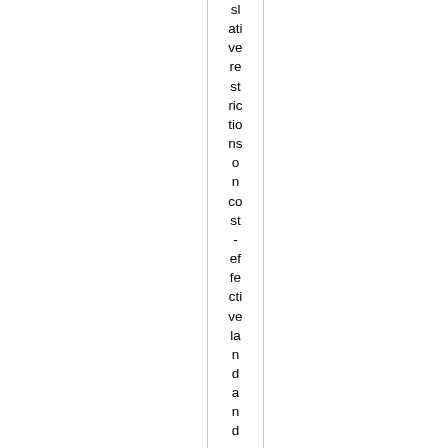slative restrictions on cost-effective land and den energy devel